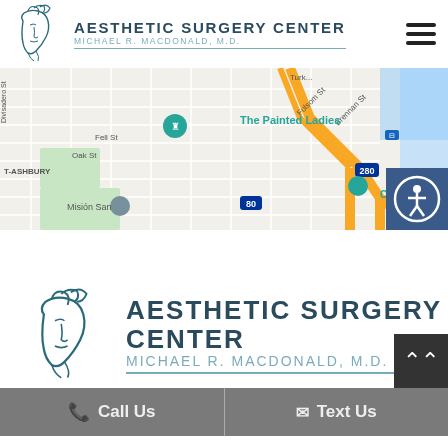[Figure (logo): Aesthetic Surgery Center logo with stylized face and text, small version in header]
[Figure (map): Google Maps screenshot showing San Francisco area including The Painted Ladies, Oracle Park, Chase Center, Folsom St, I-280, I-80]
[Figure (logo): Aesthetic Surgery Center logo with stylized face and text, large version in body]
Call Us
Text Us